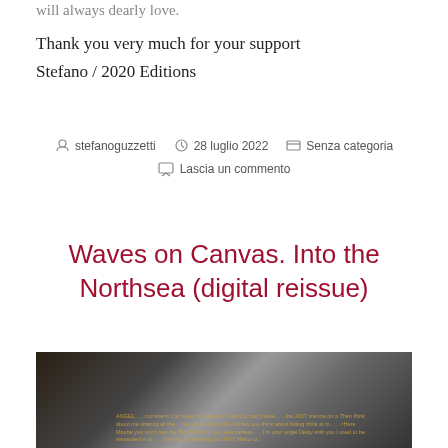will always dearly love.
Thank you very much for your support
Stefano / 2020 Editions
stefanoguzzetti   28 luglio 2022   Senza categoria   Lascia un commento
Waves on Canvas. Into the Northsea (digital reissue)
[Figure (photo): Black and white photo of stacked books or angular objects with golden text overlay showing lyrics/poem text starting with ANGEL...]